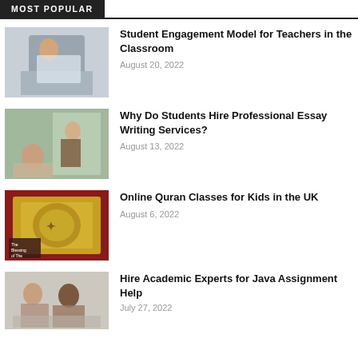MOST POPULAR
[Figure (photo): Student girl working on laptop at desk]
Student Engagement Model for Teachers in the Classroom
August 20, 2022
[Figure (photo): Students in classroom with books near window]
Why Do Students Hire Professional Essay Writing Services?
August 13, 2022
[Figure (photo): Golden Quran book on red background]
Online Quran Classes for Kids in the UK
August 6, 2022
[Figure (photo): Students studying at desks in classroom]
Hire Academic Experts for Java Assignment Help
July 27, 2022